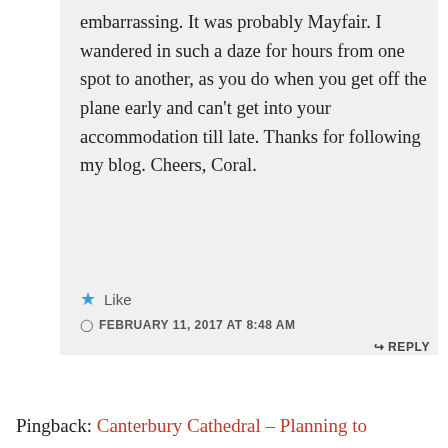embarrassing. It was probably Mayfair. I wandered in such a daze for hours from one spot to another, as you do when you get off the plane early and can't get into your accommodation till late. Thanks for following my blog. Cheers, Coral.
Like
FEBRUARY 11, 2017 AT 8:48 AM
REPLY
Pingback: Canterbury Cathedral – Planning to